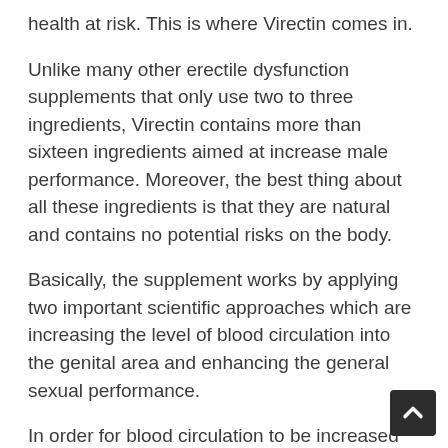health at risk. This is where Virectin comes in.
Unlike many other erectile dysfunction supplements that only use two to three ingredients, Virectin contains more than sixteen ingredients aimed at increase male performance. Moreover, the best thing about all these ingredients is that they are natural and contains no potential risks on the body.
Basically, the supplement works by applying two important scientific approaches which are increasing the level of blood circulation into the genital area and enhancing the general sexual performance.
In order for blood circulation to be increased into the genital area, the blood vessels need to be expanded for blood to flow without facing any hurdles. This process is known as vasodilation.